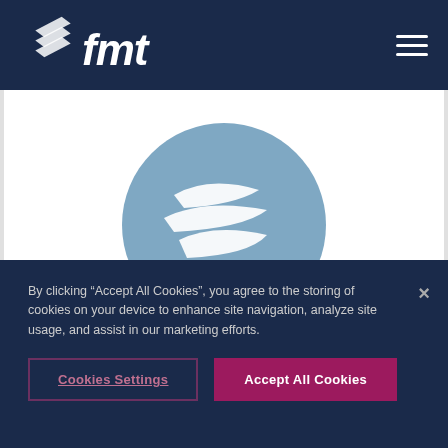[Figure (logo): FMT company logo with stylized wing/chevron marks and 'fmt' text in white on dark navy background header bar]
[Figure (logo): Circular blue/steel-colored logo with white stylized wing/chevron marks, centered in white content area]
By clicking “Accept All Cookies”, you agree to the storing of cookies on your device to enhance site navigation, analyze site usage, and assist in our marketing efforts.
Cookies Settings
Accept All Cookies